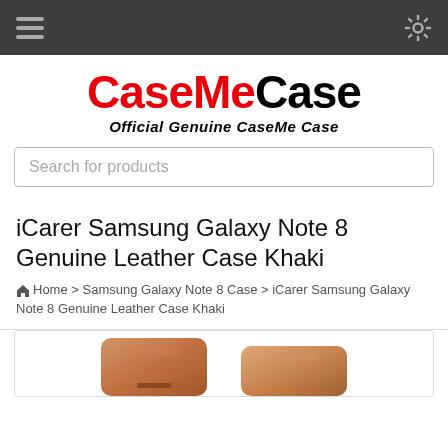CaseMeCase - Official Genuine CaseMe Case
[Figure (logo): CaseMeCase logo with red 'CaseMe' and black 'Case' text, subtitle 'Official Genuine CaseMe Case']
Search for products
iCarer Samsung Galaxy Note 8 Genuine Leather Case Khaki
Home > Samsung Galaxy Note 8 Case > iCarer Samsung Galaxy Note 8 Genuine Leather Case Khaki
[Figure (photo): Two khaki/tan genuine leather phone cases for Samsung Galaxy Note 8 shown from the back]